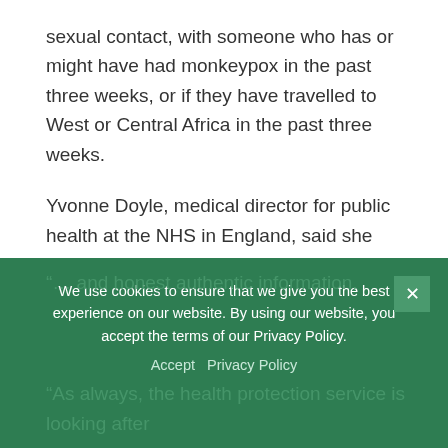sexual contact, with someone who has or might have had monkeypox in the past three weeks, or if they have travelled to West or Central Africa in the past three weeks.
Yvonne Doyle, medical director for public health at the NHS in England, said she was “not worried about monkeypox”.
She told the NHS ConfedExpo conference: “I’m not worried about monkeypox because we have a very good group of people advising the country about it.
We use cookies to ensure that we give you the best experience on our website. By using our website, you accept the terms of our Privacy Policy.
“… and honest authentic information.
“As always, the health protection service is looking after